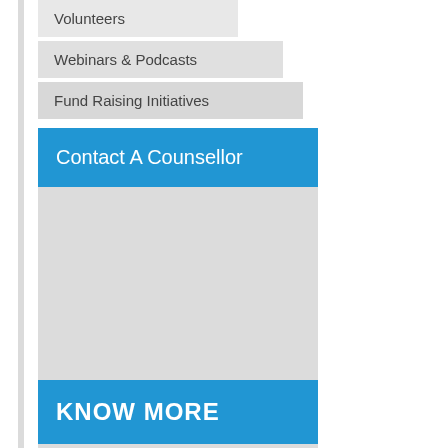Volunteers
Webinars & Podcasts
Fund Raising Initiatives
Contact A Counsellor
KNOW MORE
UP Student Ca...
0800 747 747
University Of P...
0800 00 63 63
UCT Staff Help...
0800 171 171
TUT Student H...
0800 68 78 88
UWC Student H...
0800 22 23 33
Discovery Med...
0800 323 323
STADIO H...